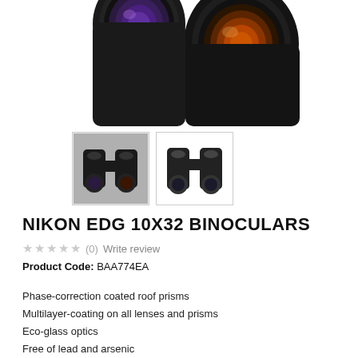[Figure (photo): Close-up photo of Nikon EDG binocular lenses viewed from the front, showing two large objective lenses with purple/orange coating on white background]
[Figure (photo): Thumbnail 1: Full view of Nikon EDG binoculars on grey background]
[Figure (photo): Thumbnail 2: Full view of Nikon EDG binoculars on white background]
NIKON EDG 10X32 BINOCULARS
★★★★★ (0)  Write review
Product Code: BAA774EA
Phase-correction coated roof prisms
Multilayer-coating on all lenses and prisms
Eco-glass optics
Free of lead and arsenic